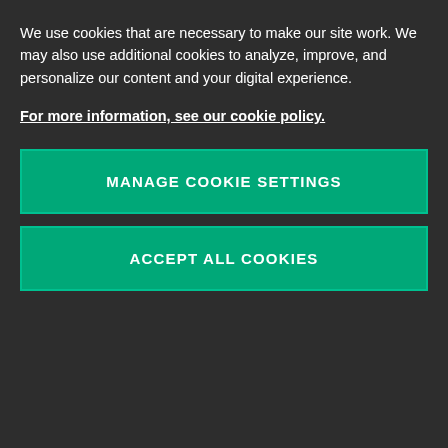We use cookies that are necessary to make our site work. We may also use additional cookies to analyze, improve, and personalize our content and your digital experience.
For more information, see our cookie policy.
MANAGE COOKIE SETTINGS
ACCEPT ALL COOKIES
| Element | Cardinality |
| --- | --- |
| <elapsedTime>90303</elapsedTime> | 1.. |
| <fs>AA<fs> | 1..1 |
| <iata>AA<iata> | 0..1 |
| <icao>AAL<icao> | 0..1 |
| <name>American Airlines<name> | 1..1 |
Airline